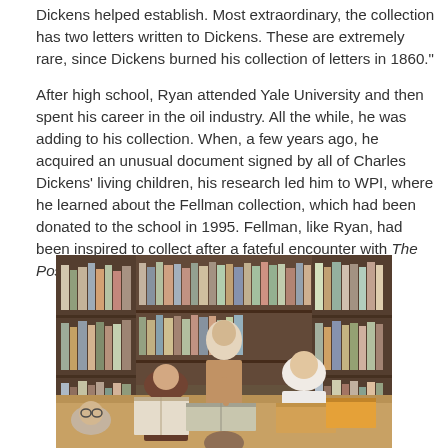Dickens helped establish. Most extraordinary, the collection has two letters written to Dickens. These are extremely rare, since Dickens burned his collection of letters in 1860."
After high school, Ryan attended Yale University and then spent his career in the oil industry. All the while, he was adding to his collection. When, a few years ago, he acquired an unusual document signed by all of Charles Dickens' living children, his research led him to WPI, where he learned about the Fellman collection, which had been donated to the school in 1995. Fellman, like Ryan, had been inspired to collect after a fateful encounter with The Posthumous Papers of the Pickwick Club as a teen.
[Figure (photo): People seated around a wooden table in a library with bookshelves in the background, examining books. A person in a tan jacket is standing and leaning over the table.]